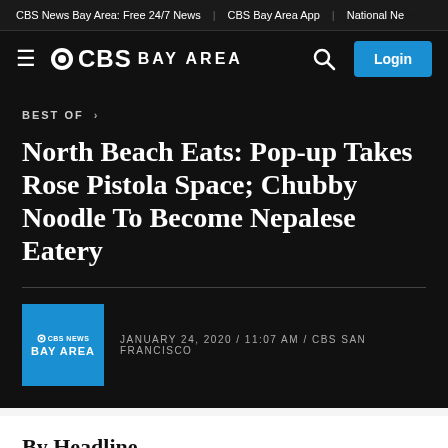CBS News Bay Area: Free 24/7 News | CBS Bay Area App | National Ne...
[Figure (logo): CBS Bay Area navigation bar with hamburger menu, CBS Bay Area logo, search icon, and Login button]
BEST OF >
North Beach Eats: Pop-up Takes Rose Pistola Space; Chubby Noodle To Become Nepalese Eatery
JANUARY 24, 2020 / 11:07 AM / CBS SAN FRANCISCO